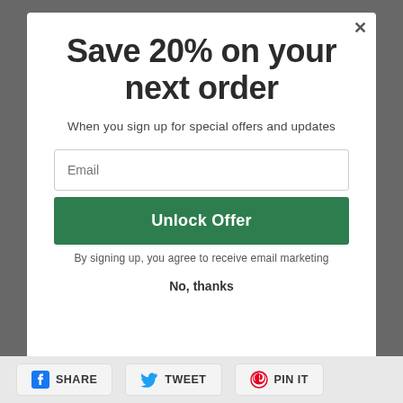Save 20% on your next order
When you sign up for special offers and updates
Email
Unlock Offer
By signing up, you agree to receive email marketing
No, thanks
SHARE   TWEET   PIN IT